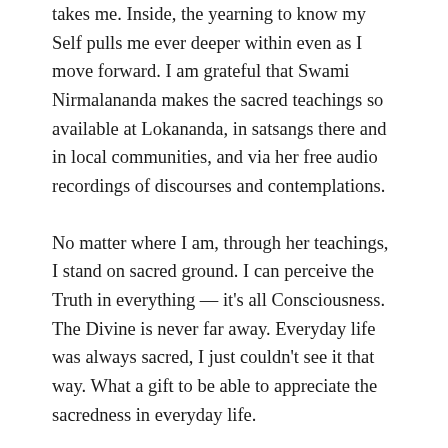takes me. Inside, the yearning to know my Self pulls me ever deeper within even as I move forward. I am grateful that Swami Nirmalananda makes the sacred teachings so available at Lokananda, in satsangs there and in local communities, and via her free audio recordings of discourses and contemplations.
No matter where I am, through her teachings, I stand on sacred ground. I can perceive the Truth in everything — it's all Consciousness. The Divine is never far away. Everyday life was always sacred, I just couldn't see it that way. What a gift to be able to appreciate the sacredness in everyday life.
In gratitude, I practice dakshina, contributing financially to the Ashram regularly. Offering dakshina changes you, just as do the other yogic practices. The amount of money does not matter. Any amount is beneficial to the Ashram in spreading the teachings widely. Giving back in gratitude for